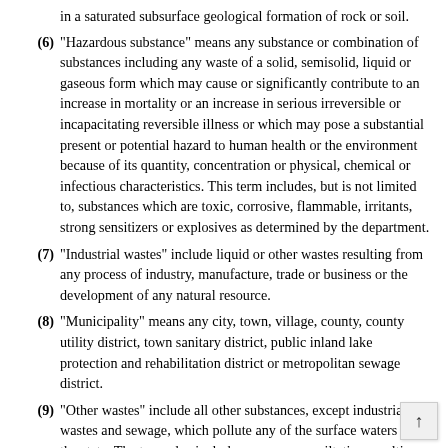(5) ...in a saturated subsurface geological formation of rock or soil.
(6) "Hazardous substance" means any substance or combination of substances including any waste of a solid, semisolid, liquid or gaseous form which may cause or significantly contribute to an increase in mortality or an increase in serious irreversible or incapacitating reversible illness or which may pose a substantial present or potential hazard to human health or the environment because of its quantity, concentration or physical, chemical or infectious characteristics. This term includes, but is not limited to, substances which are toxic, corrosive, flammable, irritants, strong sensitizers or explosives as determined by the department.
(7) "Industrial wastes" include liquid or other wastes resulting from any process of industry, manufacture, trade or business or the development of any natural resource.
(8) "Municipality" means any city, town, village, county, county utility district, town sanitary district, public inland lake protection and rehabilitation district or metropolitan sewage district.
(9) "Other wastes" include all other substances, except industrial wastes and sewage, which pollute any of the surface waters of the state. The term also includes unnecessary siltation resulting from operations such as the washing of vegetables or raw food products, gravel washing, stripping of lands for development of subdivisions, highways, quarries and grav...